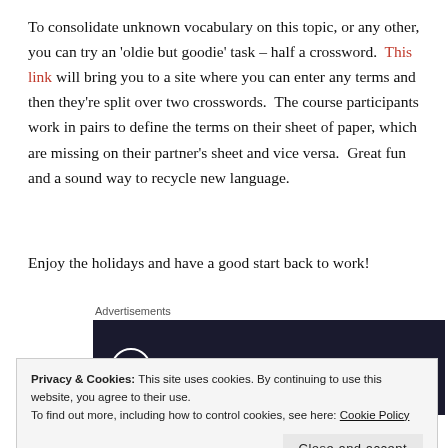To consolidate unknown vocabulary on this topic, or any other, you can try an 'oldie but goodie' task – half a crossword.  This link will bring you to a site where you can enter any terms and then they're split over two crosswords.  The course participants work in pairs to define the terms on their sheet of paper, which are missing on their partner's sheet and vice versa.  Great fun and a sound way to recycle new language.
Enjoy the holidays and have a good start back to work!
Advertisements
[Figure (logo): Dark navy/black advertisement banner featuring the Sensei logo: a white circle with a tree/person icon and the word 'sensei' in white text.]
Privacy & Cookies: This site uses cookies. By continuing to use this website, you agree to their use.
To find out more, including how to control cookies, see here: Cookie Policy